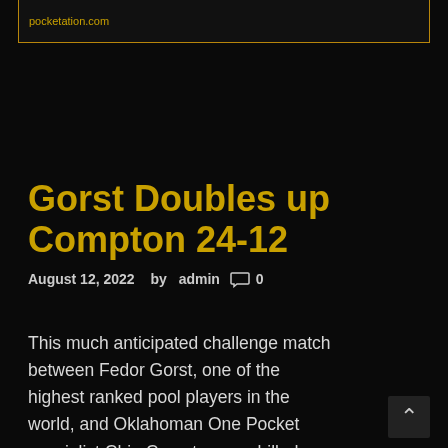pocketation.com
Gorst Doubles up Compton 24-12
August 12, 2022  by admin  0
This much anticipated challenge match between Fedor Gorst, one of the highest ranked pool players in the world, and Oklahoman One Pocket specialist Chip Compton was billed as a classic contrast in styles, a young shooter versus a top mover, and it did not disappoint. It was a